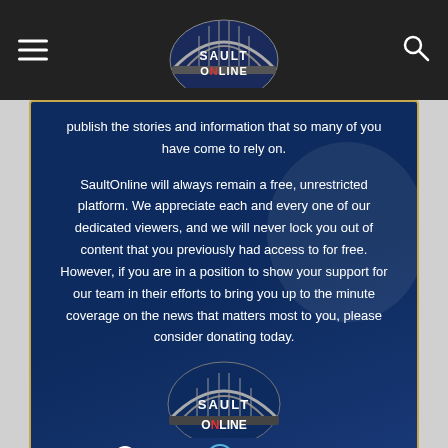[Figure (logo): SaultOnline navigation bar with hamburger menu icon on left, SaultOnline logo in center, search icon on right, on dark background]
publish the stories and information that so many of you have come to rely on.
SaultOnline will always remain a free, unrestricted platform. We appreciate each and every one of our dedicated viewers, and we will never lock you out of content that you previously had access to for free. However, if you are in a position to show your support for our team in their efforts to bring you up to the minute coverage on the news that matters most to you, please consider donating today.
[Figure (logo): SaultOnline logo with bridge arch graphic and text, above ONN tv and myAlgoma.ca partner logos]